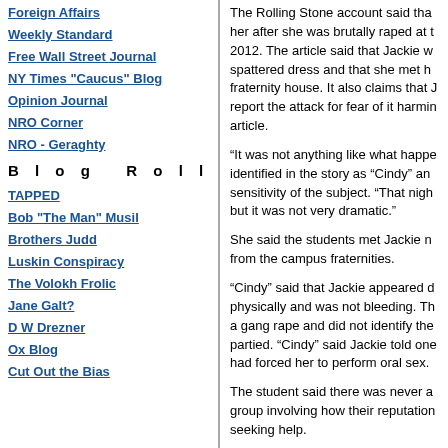Foreign Affairs
Weekly Standard
Free Wall Street Journal
NY Times "Caucus" Blog
Opinion Journal
NRO Corner
NRO - Geraghty
Blog Roll
TAPPED
Bob "The Man" Musil
Brothers Judd
Luskin Conspiracy
The Volokh Frolic
Jane Galt?
D W Drezner
Ox Blog
Cut Out the Bias
The Rolling Stone account said that her after she was brutally raped at 2012. The article said that Jackie w spattered dress and that she met h fraternity house. It also claims that J report the attack for fear of it harmin article.
“It was not anything like what happe identified in the story as “Cindy” an sensitivity of the subject. “That nigh but it was not very dramatic.”
She said the students met Jackie n from the campus fraternities.
“Cindy” said that Jackie appeared d physically and was not bleeding. Th a gang rape and did not identify the partied. “Cindy” said Jackie told on had forced her to perform oral sex.
The student said there was never a group involving how their reputatio seeking help.